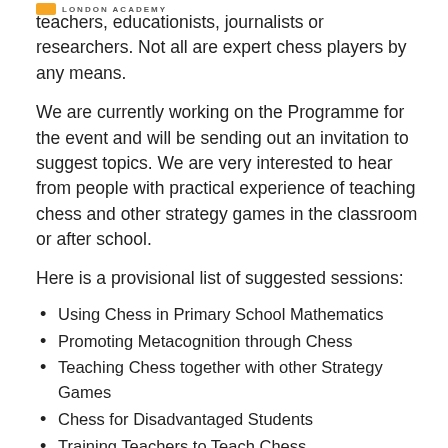LONDON ACADEMY
teachers, educationists, journalists or researchers. Not all are expert chess players by any means.
We are currently working on the Programme for the event and will be sending out an invitation to suggest topics. We are very interested to hear from people with practical experience of teaching chess and other strategy games in the classroom or after school.
Here is a provisional list of suggested sessions:
Using Chess in Primary School Mathematics
Promoting Metacognition through Chess
Teaching Chess together with other Strategy Games
Chess for Disadvantaged Students
Training Teachers to Teach Chess
Certification for Quality Chess Instruction
Lobbying for Chess in the Education Community
Evaluating Chess in Education Projects